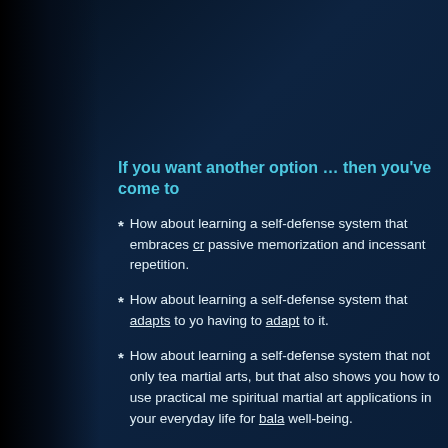If you want another option … then you've come to
How about learning a self-defense system that embraces cr passive memorization and incessant repetition.
How about learning a self-defense system that adapts to yo having to adapt to it.
How about learning a self-defense system that not only tea martial arts, but that also shows you how to use practical me spiritual martial art applications in your everyday life for bala well-being.
Freedman's Method Ketsugo Jujutsu is not just another self-d a holistic life approach for self-defense, personal developmen